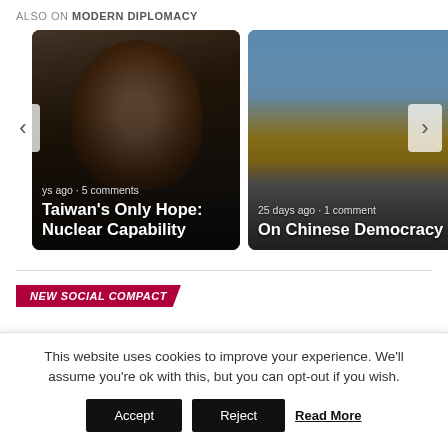ALSO ON MODERN DIPLOMACY
[Figure (photo): Photo of a woman (Taiwan leader) against a dark background, card overlay reads: 'ys ago · 5 comments' and title 'Taiwan's Only Hope: Nuclear Capability']
[Figure (photo): Photo of the Forbidden City in Beijing with crowds of tourists under blue sky, card overlay reads: '25 days ago · 1 comment' and title 'On Chinese Democracy']
NEW SOCIAL COMPACT
This website uses cookies to improve your experience. We'll assume you're ok with this, but you can opt-out if you wish.
Accept   Reject   Read More